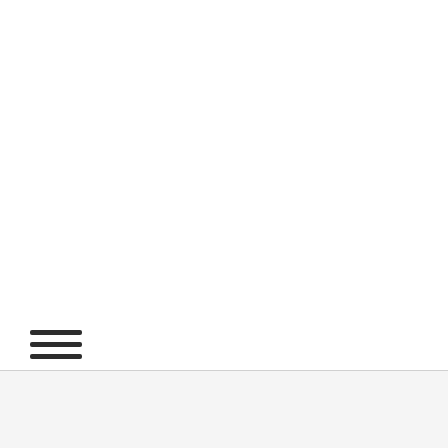[Figure (other): Hamburger menu icon with three horizontal bars]
Home › Lifestyle Fashion ›